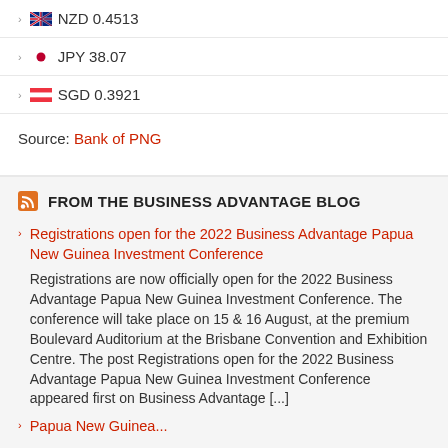NZD 0.4513
JPY 38.07
SGD 0.3921
Source: Bank of PNG
FROM THE BUSINESS ADVANTAGE BLOG
Registrations open for the 2022 Business Advantage Papua New Guinea Investment Conference
Registrations are now officially open for the 2022 Business Advantage Papua New Guinea Investment Conference. The conference will take place on 15 & 16 August, at the premium Boulevard Auditorium at the Brisbane Convention and Exhibition Centre. The post Registrations open for the 2022 Business Advantage Papua New Guinea Investment Conference appeared first on Business Advantage [...]
Papua New Guinea...